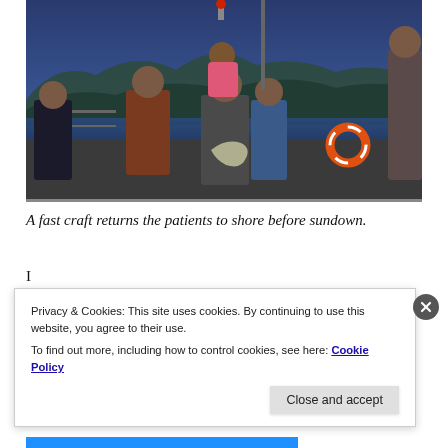[Figure (photo): People on a boat/fast craft at dusk or early morning. A man in a gray vest carries a young child in a pink top and holds a plastic bag. Other people including a man in a jacket and a person in military/navy uniform are visible. Blue mountains and water visible in background. An orange life preserver ring is visible on the right.]
A fast craft returns the patients to shore before sundown.
I... (partially visible text, obscured by cookie banner)